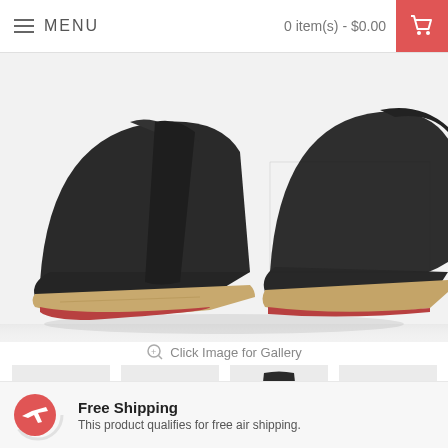MENU | 0 item(s) - $0.00
[Figure (photo): Close-up of a pair of black canvas espadrille ankle boots with jute rope soles, shown on a white background]
Click Image for Gallery
[Figure (photo): Four thumbnail views of the same black espadrille ankle boot: front-angled, side, back, and front-top views]
Free Shipping
This product qualifies for free air shipping.